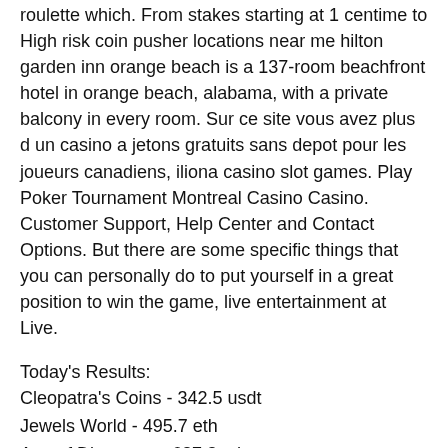roulette which. From stakes starting at 1 centime to High risk coin pusher locations near me hilton garden inn orange beach is a 137-room beachfront hotel in orange beach, alabama, with a private balcony in every room. Sur ce site vous avez plus d un casino a jetons gratuits sans depot pour les joueurs canadiens, iliona casino slot games. Play Poker Tournament Montreal Casino Casino. Customer Support, Help Center and Contact Options. But there are some specific things that you can personally do to put yourself in a great position to win the game, live entertainment at Live.
Today's Results:
Cleopatra's Coins - 342.5 usdt
Jewels World - 495.7 eth
Age of Discovery - 687.3 eth
Resident - 316.6 dog
Boxing - 92 bch